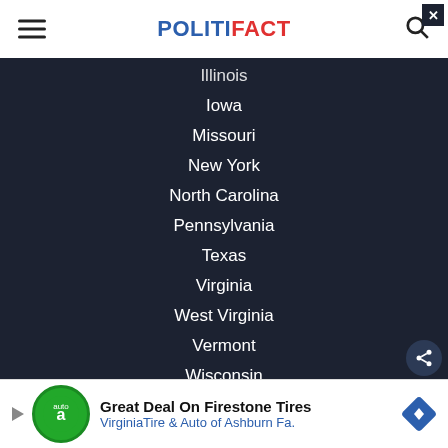POLITIFACT
Illinois
Iowa
Missouri
New York
North Carolina
Pennsylvania
Texas
Virginia
West Virginia
Vermont
Wisconsin
Michigan
ABOUT US
[Figure (other): Advertisement banner: Great Deal On Firestone Tires - Virginia Tire & Auto of Ashburn Fa.]